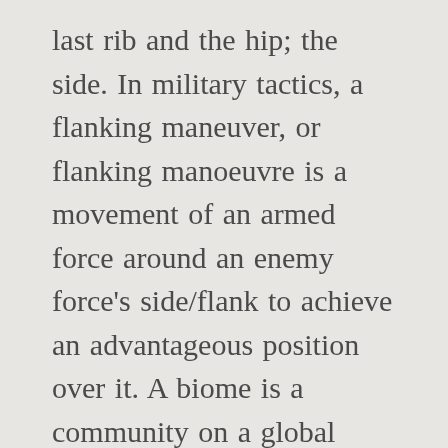last rib and the hip; the side. In military tactics, a flanking maneuver, or flanking manoeuvre is a movement of an armed force around an enemy force's side/flank to achieve an advantageous position over it. A biome is a community on a global scale, where habitats flank each other, and is usually defined by the temperature, precipitation, and types of plants and animals that inhabit it. Tags: Jhallari meaning in Hindi. References This anatomy article is a stub. 7 Answers. Define Flank by Webster's Dictionary, WordNet Lexical Database, Dictionary of Computing, Legal Dictionary, Medical Dictionary, Dream Dictionary. They can be lifesavers when you want to avoid repeating the same word, eve...